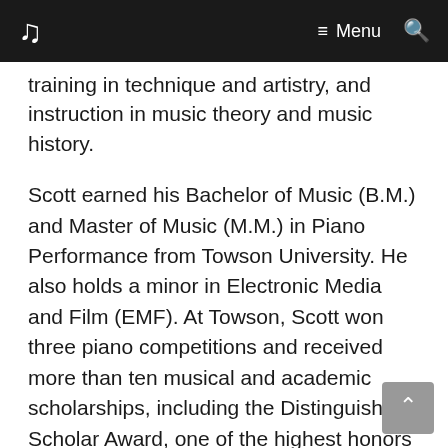♩  ≡ Menu 🔍
training in technique and artistry, and instruction in music theory and music history.
Scott earned his Bachelor of Music (B.M.) and Master of Music (M.M.) in Piano Performance from Towson University. He also holds a minor in Electronic Media and Film (EMF). At Towson, Scott won three piano competitions and received more than ten musical and academic scholarships, including the Distinguished Scholar Award, one of the highest honors for academic excellence conferred by the university. He was chosen as the undergraduate commencement speaker for Towson's College of Fine Arts and Communication graduation ceremony in May of 2015, where he represented more than 400 baccalaureate